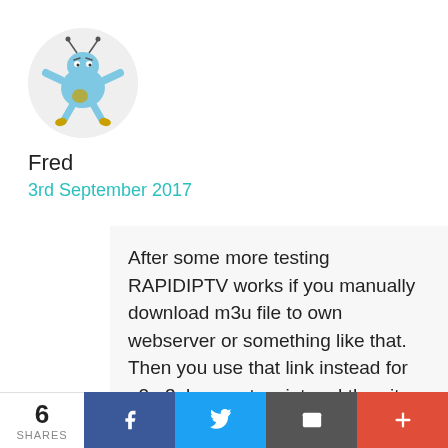[Figure (illustration): Circular avatar with a cartoon butterfly/bug character on a light grey background]
Fred
3rd September 2017
After some more testing RAPIDIPTV works if you manually download m3u file to own webserver or something like that.
Then you use that link instead for e2m3ubouquet script and then it works.
Seems there is a problem with grabbing the file clientportal directly.
6 SHARES
[Figure (infographic): Social share bar with Facebook, Twitter, Email, and More buttons. Share count shows 6 SHARES.]